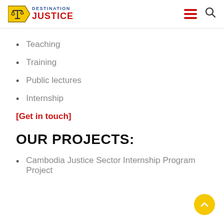Destination Justice
Teaching
Training
Public lectures
Internship
[Get in touch]
OUR PROJECTS:
Cambodia Justice Sector Internship Program Project